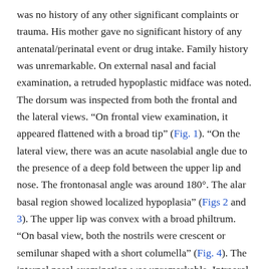was no history of any other significant complaints or trauma. His mother gave no significant history of any antenatal/perinatal event or drug intake. Family history was unremarkable. On external nasal and facial examination, a retruded hypoplastic midface was noted. The dorsum was inspected from both the frontal and the lateral views. "On frontal view examination, it appeared flattened with a broad tip" (Fig. 1). "On the lateral view, there was an acute nasolabial angle due to the presence of a deep fold between the upper lip and nose. The frontonasal angle was around 180°. The alar basal region showed localized hypoplasia" (Figs 2 and 3). The upper lip was convex with a broad philtrum. "On basal view, both the nostrils were crescent or semilunar shaped with a short columella" (Fig. 4). The internal nasal examination was unremarkable. Intraoral examination revealed Angle's class I dental occlusion with no malalignment of teeth. Rest otorhinolaryngological and systemic examinations were